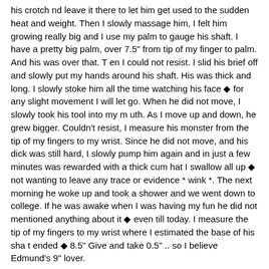his crotch nd leave it there to let him get used to the sudden heat and weight. Then I slowly massage him, I felt him growing really big and I use my palm to gauge his shaft. I have a pretty big palm, over 7.5" from tip of my finger to palm. And his was over that. T en I could not resist. I slid his brief off and slowly put my hands around his shaft. His was thick and long. I slowly stoke him all the time watching his face ◆ for any slight movement I will let go. When he did not move, I slowly took his tool into my m uth. As I move up and down, he grew bigger. Couldn't resist, I measure his monster from the tip of my fingers to my wrist. Since he did not move, and his dick was still hard, I slowly pump him again and in just a few minutes was rewarded with a thick cum hat I swallow all up ◆ not wanting to leave any trace or evidence * wink *. The next morning he woke up and took a shower and we went down to college. If he was awake when I was having my fun he did not mentioned anything about it ◆ even till today. I measure the tip of my fingers to my wrist where I estimated the base of his sha t ended ◆ 8.5" Give and take 0.5" .. so I believe Edmund's 9" lover.
07/26/98 08:30:33
Name: @lex My URL: Visit Me
My Email: Email Me Your Fav Sextivity: oral